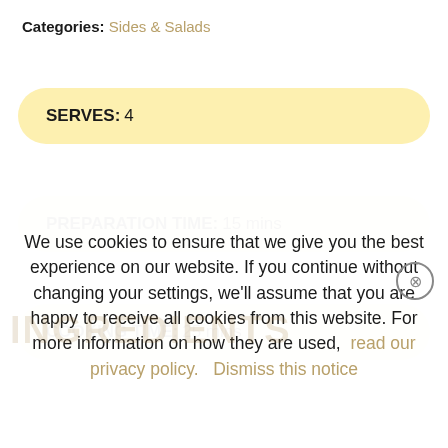Categories: Sides & Salads
SERVES: 4
PREPARATION TIME: 15 mins
COOKING TIME: 25 mins
We use cookies to ensure that we give you the best experience on our website. If you continue without changing your settings, we'll assume that you are happy to receive all cookies from this website. For more information on how they are used, read our privacy policy. Dismiss this notice